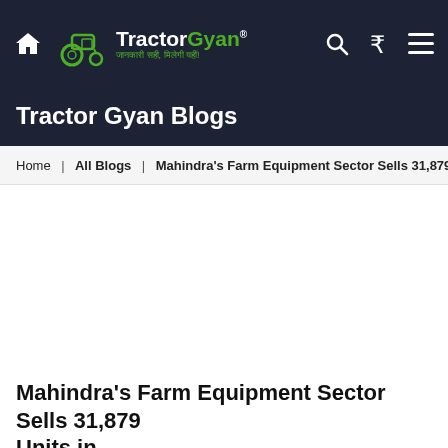TractorGyan - जानकारी सही, मिलेगी यहीं!
Tractor Gyan Blogs
Home | All Blogs | Mahindra's Farm Equipment Sector Sells 31,879 Units i
[Figure (photo): Article image placeholder (blank white area)]
Mahindra's Farm Equipment Sector Sells 31,879 Units in...